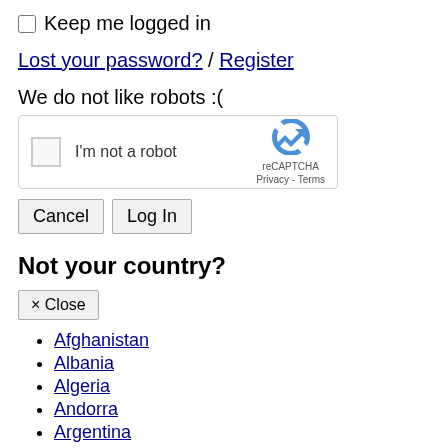Keep me logged in
Lost your password? / Register
We do not like robots :(
[Figure (other): reCAPTCHA widget with checkbox labeled I'm not a robot]
Cancel  Log In
Not your country?
× Close
Afghanistan
Albania
Algeria
Andorra
Argentina
Armenia
Australia
Austria
Azerbaijan